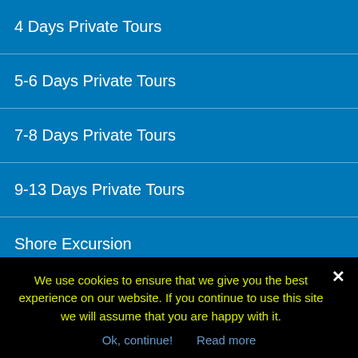4 Days Private Tours
5-6 Days Private Tours
7-8 Days Private Tours
9-13 Days Private Tours
Shore Excursion
Christian Tours
Wine tours
Most Popu...
We use cookies to ensure that we give you the best experience on our website. If you continue to use this site we will assume that you are happy with it.
Ok, continue!   Read more